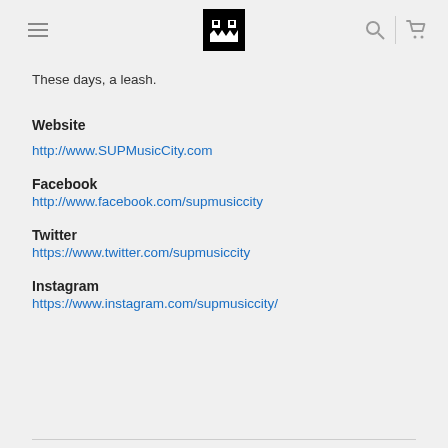[logo] SUP Music City navigation header with hamburger menu, search icon, and cart icon
These days, a leash.
Website
http://www.SUPMusicCity.com
Facebook
http://www.facebook.com/supmusiccity
Twitter
https://www.twitter.com/supmusiccity
Instagram
https://www.instagram.com/supmusiccity/